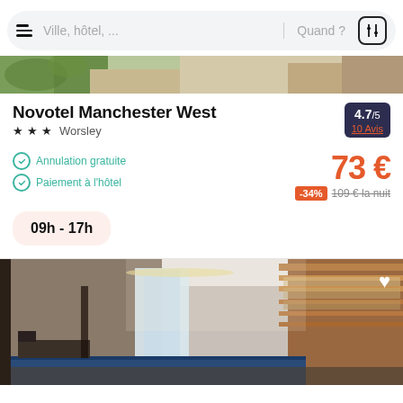Ville, hôtel, ... | Quand ?
[Figure (photo): Partial top view of hotel or nature image strip]
Novotel Manchester West
★★★ Worsley
4.7/5 — 10 Avis
Annulation gratuite
Paiement à l'hôtel
73 €
-34% 109 € la nuit
09h - 17h
[Figure (photo): Interior photo of a modern hotel lobby/bar area with copper/gold metallic shelving and blue bar counter]